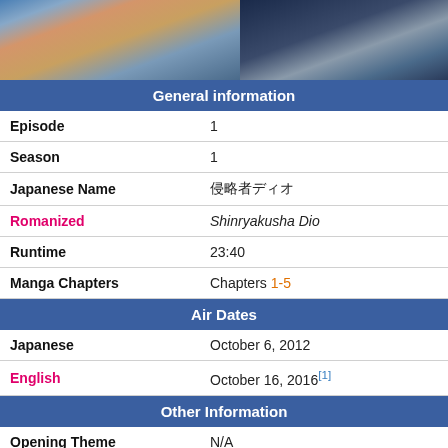[Figure (illustration): Anime screenshot split into two panels: left shows colorful anime characters, right shows a darker anime character against night sky]
| General information |
| Episode | 1 |
| Season | 1 |
| Japanese Name | 侵略者ディオ |
| Romanized | Shinryakusha Dio |
| Runtime | 23:40 |
| Manga Chapters | Chapters 1-5 |
| Air Dates |
| Japanese | October 6, 2012 |
| English | October 16, 2016[1] |
| Other Information |
| Opening Theme | N/A |
| Ending Theme | Roundabout |
| Episode guide |
Redirected from "Phantom Blood Episode 1"
This article is about episode one of the TV Anime. For